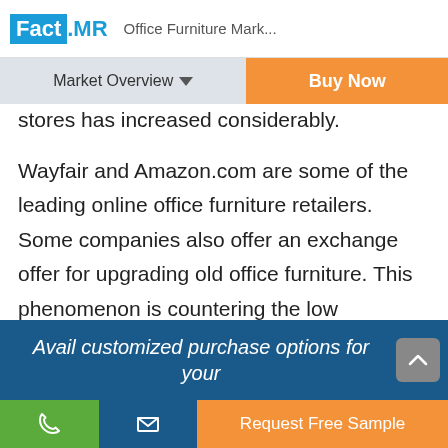Fact.MR  Office Furniture Mark...
Market Overview ▼
Buy Now
stores has increased considerably.
Wayfair and Amazon.com are some of the leading online office furniture retailers. Some companies also offer an exchange offer for upgrading old office furniture. This phenomenon is countering the low replacement rate of the office furniture, thereby, boosting the global market growth to a great extent.
Avail customized purchase options for your
Request Free Sample